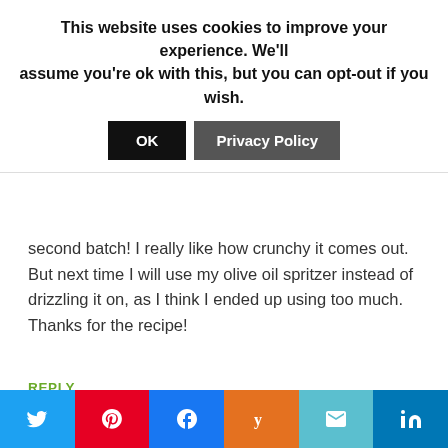This website uses cookies to improve your experience. We'll assume you're ok with this, but you can opt-out if you wish.
OK | Privacy Policy
second batch! I really like how crunchy it comes out. But next time I will use my olive oil spritzer instead of drizzling it on, as I think I ended up using too much. Thanks for the recipe!
REPLY
[Figure (photo): Avatar photo of Maryann Tomovich Jacobsen, MS, RD — a woman with dark hair wearing a pink/red top]
Maryann Tomovich Jacobsen, MS, RD says
February 12, 2010 at 12:16 am
[Figure (infographic): Social sharing bar with Twitter, Pinterest, Facebook, Yummly, Email, and LinkedIn buttons]